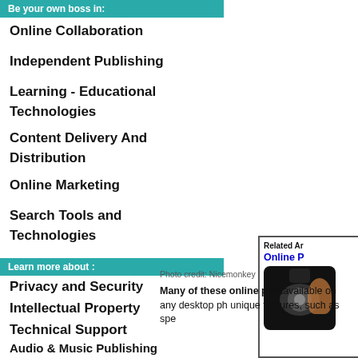Be your own boss in:
Online Collaboration
Independent Publishing
Learning - Educational Technologies
Content Delivery And Distribution
Online Marketing
Search Tools and Technologies
Learn more about :
Privacy and Security
Intellectual Property
Technical Support
Audio & Music Publishing
Video - Internet Television
X-Events
Social Networking
Related Ar...
Online P...
Photo credit: Nicemonkey
Many of these online phot... available on any desktop ph... unique features, such as spe...